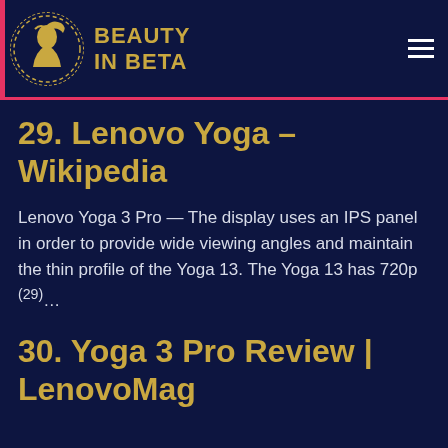BEAUTY IN BETA
29. Lenovo Yoga – Wikipedia
Lenovo Yoga 3 Pro — The display uses an IPS panel in order to provide wide viewing angles and maintain the thin profile of the Yoga 13. The Yoga 13 has 720p (29)…
30. Yoga 3 Pro Review | LenovoMag